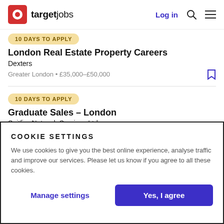targetjobs  Log in
10 DAYS TO APPLY
London Real Estate Property Careers
Dexters
Greater London • £35,000–£50,000
10 DAYS TO APPLY
Graduate Sales – London
Spitfire Network Services Ltd
Greater London • £30,000–£40,000
COOKIE SETTINGS
We use cookies to give you the best online experience, analyse traffic and improve our services. Please let us know if you agree to all these cookies.
Manage settings
Yes, I agree